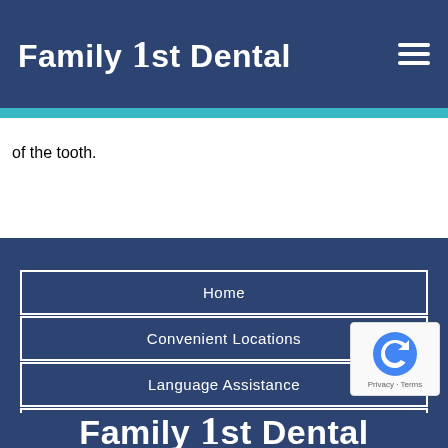[Figure (logo): Family 1st Dental logo with hamburger menu icon on dark blue header background]
of the tooth.
Home
Convenient Locations
Language Assistance
Join Our Team
[Figure (logo): Family 1st Dental logo text in white on dark blue background at bottom of page]